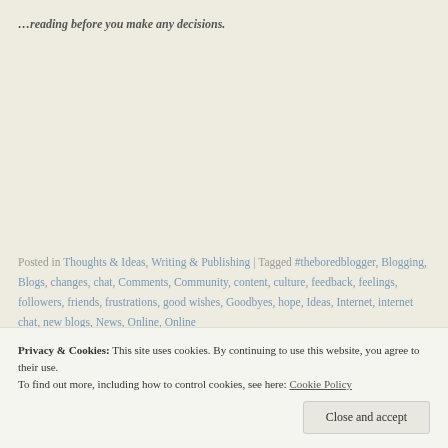...reading before you make any decisions.
Posted in Thoughts & Ideas, Writing & Publishing | Tagged #theboredblogger, Blogging, Blogs, changes, chat, Comments, Community, content, culture, feedback, feelings, followers, friends, frustrations, good wishes, Goodbyes, hope, Ideas, Internet, internet chat, new blogs, News, Online, Online
Privacy & Cookies: This site uses cookies. By continuing to use this website, you agree to their use.
To find out more, including how to control cookies, see here: Cookie Policy
Close and accept